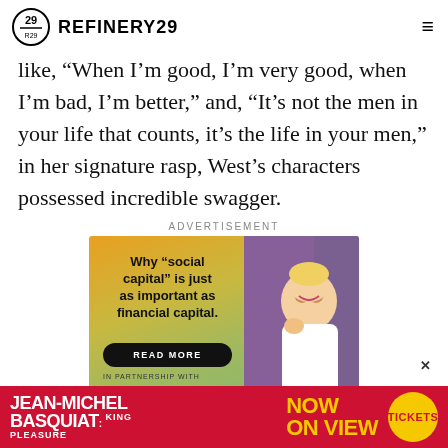REFINERY29
like, “When I’m good, I’m very good, when I’m bad, I’m better,” and, “It’s not the men in your life that counts, it’s the life in your men,” in her signature rasp, West’s characters possessed incredible swagger.
ADVERTISEMENT
[Figure (infographic): Advertisement banner: left side has olive/yellow-green gradient background with text 'Why “social capital” is just as important as financial capital.' and a 'READ MORE' button, bottom left shows 'IN PARTNERSHIP WITH' text. Right side shows a smiling woman in white blazer against a decorative background. Close X button visible.]
[Figure (infographic): Bottom banner advertisement for 'JEAN-MICHEL BASQUIAT: KING PLEASURE' exhibition showing 'NOW ON VIEW' in yellow text on red background with a yellow circle 'TICKETS' button.]